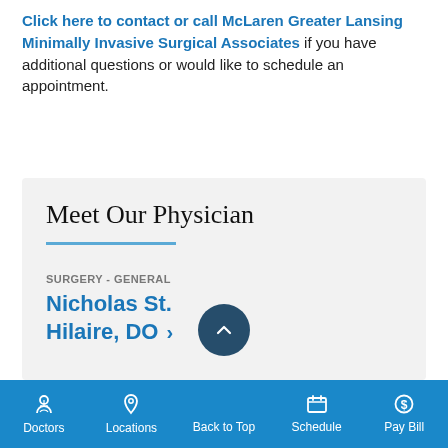Click here to contact or call McLaren Greater Lansing Minimally Invasive Surgical Associates if you have additional questions or would like to schedule an appointment.
Meet Our Physician
SURGERY - GENERAL
Nicholas St. Hilaire, DO ›
Doctors  Locations  Back to Top  Schedule  Pay Bill